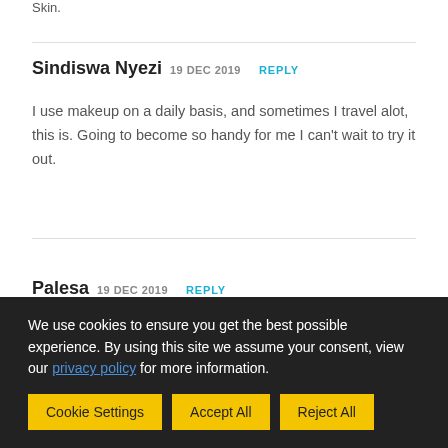Skin.
Sindiswa Nyezi  19 DEC 2019  REPLY
I use makeup on a daily basis, and sometimes I travel alot, this is. Going to become so handy for me I can't wait to try it out.
Palesa  19 DEC 2019  REPLY
We use cookies to ensure you get the best possible experience. By using this site we assume your consent, view our privacy policy for more information.